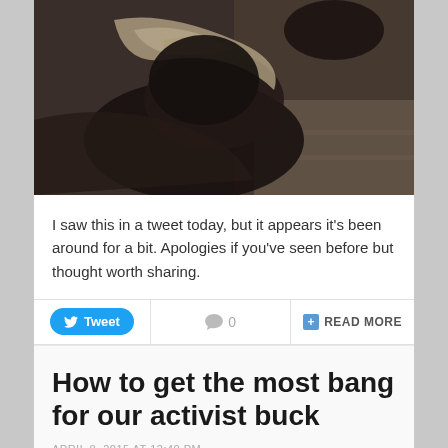[Figure (photo): Black and white / sepia toned photograph showing a person lying down or crouched, wearing a jacket, with stone steps or pavement visible in the background.]
I saw this in a tweet today, but it appears it's been around for a bit. Apologies if you've seen before but thought worth sharing.
[Figure (infographic): Action bar with Tweet button, comment count (0), and READ MORE button.]
How to get the most bang for our activist buck
APRIL 8, 2015 AT 12:40 PM